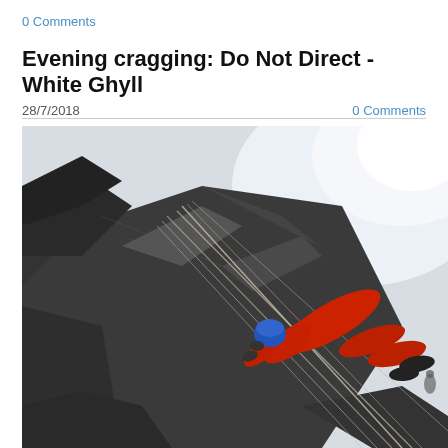0 Comments
Evening cragging: Do Not Direct - White Ghyll
28/7/2018
0 Comments
[Figure (photo): A rock climber in red clothing and blue helmet traversing a steep dark rock face at White Ghyll, with ropes visible and bright sky in the background.]